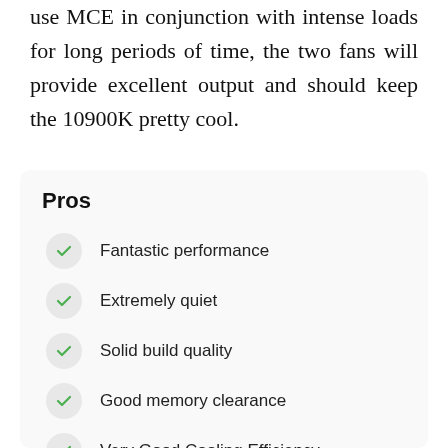use MCE in conjunction with intense loads for long periods of time, the two fans will provide excellent output and should keep the 10900K pretty cool.
Pros
Fantastic performance
Extremely quiet
Solid build quality
Good memory clearance
Very Good Cooling Efficiency